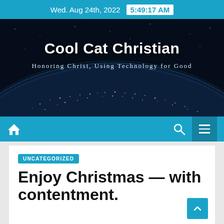Wed. Aug 24th, 2022  5:49:17 AM
Cool Cat Christian
Honoring Christ, Using Technology for Good
[Figure (screenshot): Navigation bar with home icon, search icon, and hamburger menu on blue background]
UNCATEGORIZED
Enjoy Christmas — with contentment.